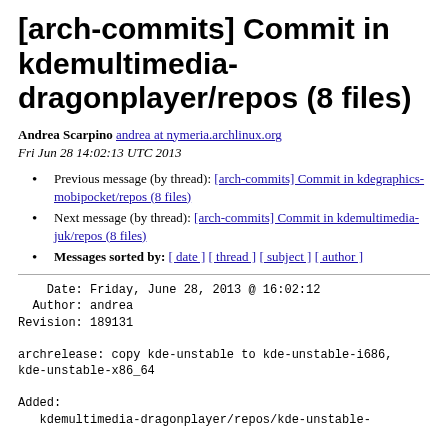[arch-commits] Commit in kdemultimedia-dragonplayer/repos (8 files)
Andrea Scarpino  andrea at nymeria.archlinux.org
Fri Jun 28 14:02:13 UTC 2013
Previous message (by thread): [arch-commits] Commit in kdegraphics-mobipocket/repos (8 files)
Next message (by thread): [arch-commits] Commit in kdemultimedia-juk/repos (8 files)
Messages sorted by: [ date ] [ thread ] [ subject ] [ author ]
Date: Friday, June 28, 2013 @ 16:02:12
  Author: andrea
Revision: 189131

archrelease: copy kde-unstable to kde-unstable-i686,
kde-unstable-x86_64

Added:
   kdemultimedia-dragonplayer/repos/kde-unstable-